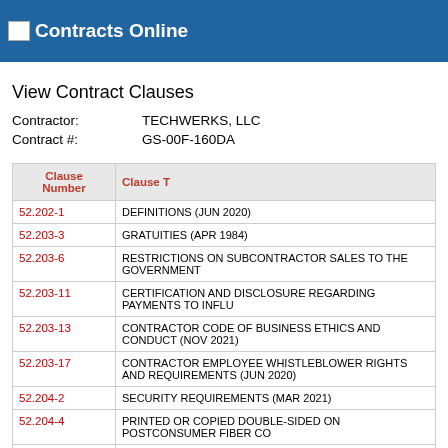Contracts Online
View Contract Clauses
Contractor: TECHWERKS, LLC
Contract #: GS-00F-160DA
| Clause Number | Clause Title |
| --- | --- |
| 52.202-1 | DEFINITIONS (JUN 2020) |
| 52.203-3 | GRATUITIES (APR 1984) |
| 52.203-6 | RESTRICTIONS ON SUBCONTRACTOR SALES TO THE GOVERNMENT |
| 52.203-11 | CERTIFICATION AND DISCLOSURE REGARDING PAYMENTS TO INFLU |
| 52.203-13 | CONTRACTOR CODE OF BUSINESS ETHICS AND CONDUCT (NOV 2021) |
| 52.203-17 | CONTRACTOR EMPLOYEE WHISTLEBLOWER RIGHTS AND REQUIREMENTS (JUN 2020) |
| 52.204-2 | SECURITY REQUIREMENTS (MAR 2021) |
| 52.204-4 | PRINTED OR COPIED DOUBLE-SIDED ON POSTCONSUMER FIBER CO |
| 52.204-7 |  |